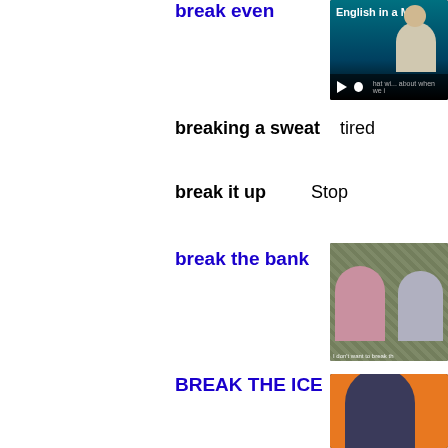break even
[Figure (screenshot): Video thumbnail showing 'English in a M...' with a person and video player controls]
breaking a sweat   tired
break it up   Stop
break the bank
[Figure (screenshot): Video thumbnail showing two people with money in background and subtitle 'I don't want to break th...']
BREAK THE ICE
[Figure (screenshot): Video thumbnail with orange background showing a smiling woman]